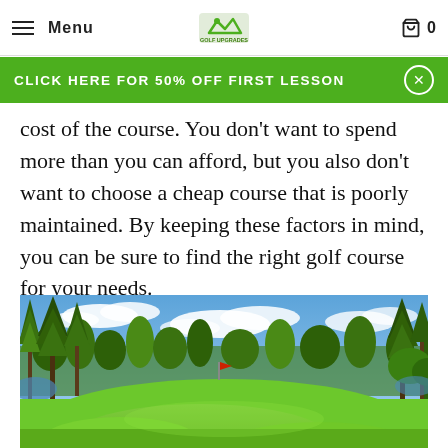Menu | Golf Upgrades logo | 0
CLICK HERE FOR 50% OFF FIRST LESSON
cost of the course. You don't want to spend more than you can afford, but you also don't want to choose a cheap course that is poorly maintained. By keeping these factors in mind, you can be sure to find the right golf course for your needs.
[Figure (photo): Golf course photo showing a green fairway with tall pine trees on either side, a blue sky with white clouds, and a hill in the foreground. Red flag visible in the distance.]